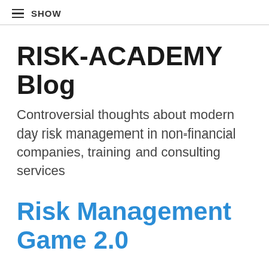≡ SHOW
RISK-ACADEMY Blog
Controversial thoughts about modern day risk management in non-financial companies, training and consulting services
Risk Management Game 2.0